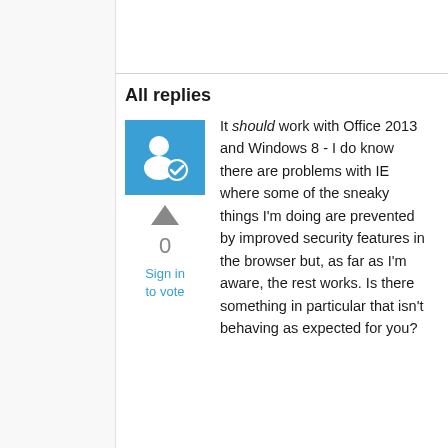All replies
[Figure (illustration): Blue square avatar icon with a person silhouette and a checkmark badge]
0
Sign in to vote
It should work with Office 2013 and Windows 8 - I do know there are problems with IE where some of the sneaky things I'm doing are prevented by improved security features in the browser but, as far as I'm aware, the rest works. Is there something in particular that isn't behaving as expected for you?